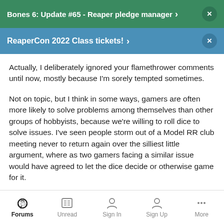Bones 6: Update #65 - Reaper pledge manager
ReaperCon 2022 Class tickets!
Actually, I deliberately ignored your flamethrower comments until now, mostly because I'm sorely tempted sometimes.
Not on topic, but I think in some ways, gamers are often more likely to solve problems among themselves than other groups of hobbyists, because we're willing to roll dice to solve issues. I've seen people storm out of a Model RR club meeting never to return again over the silliest little argument, where as two gamers facing a similar issue would have agreed to let the dice decide or otherwise game for it.
Forums | Unread | Sign In | Sign Up | More